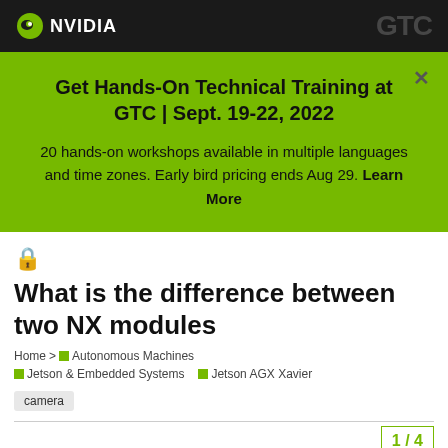[Figure (logo): NVIDIA logo with green eye icon and white NVIDIA text on dark background]
Get Hands-On Technical Training at GTC | Sept. 19-22, 2022
20 hands-on workshops available in multiple languages and time zones. Early bird pricing ends Aug 29. Learn More
🔒 What is the difference between two NX modules
Home > Autonomous Machines > Jetson & Embedded Systems > Jetson AGX Xavier
camera
1/4